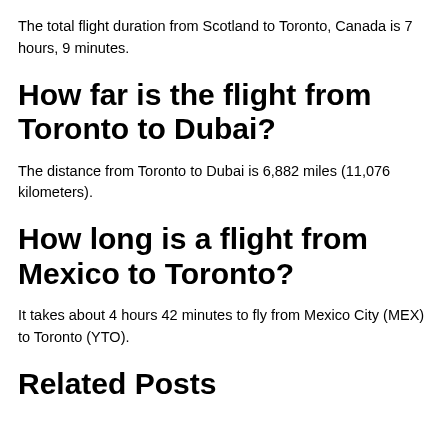The total flight duration from Scotland to Toronto, Canada is 7 hours, 9 minutes.
How far is the flight from Toronto to Dubai?
The distance from Toronto to Dubai is 6,882 miles (11,076 kilometers).
How long is a flight from Mexico to Toronto?
It takes about 4 hours 42 minutes to fly from Mexico City (MEX) to Toronto (YTO).
Related Posts